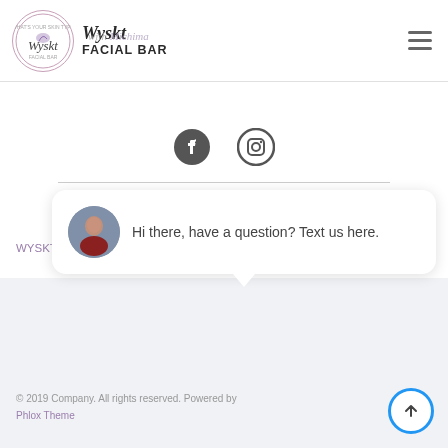Wyskt Facial Bar
[Figure (logo): Wyskt Facial Bar circular logo with script text and decorative bird/feather illustration]
Wyskt FACIAL BAR
[Figure (other): Facebook and Instagram social media icons]
WYSKT Facial Bar © 2020 All Rights Reserved | Site... By
[Figure (screenshot): Chat popup: Hi there, have a question? Text us here.]
© 2019 Company. All rights reserved. Powered by Phlox Theme